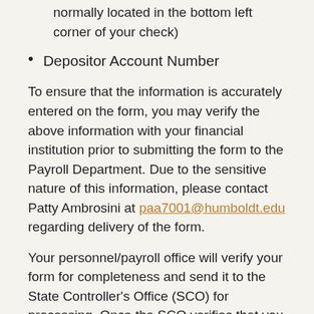normally located in the bottom left corner of your check)
Depositor Account Number
To ensure that the information is accurately entered on the form, you may verify the above information with your financial institution prior to submitting the form to the Payroll Department. Due to the sensitive nature of this information, please contact Patty Ambrosini at paa7001@humboldt.edu regarding delivery of the form.
Your personnel/payroll office will verify your form for completeness and send it to the State Controller's Office (SCO) for processing. Once the SCO verifies that you have an active account at your designated financial institution, all payments you receive through the payroll system (e.g., regular